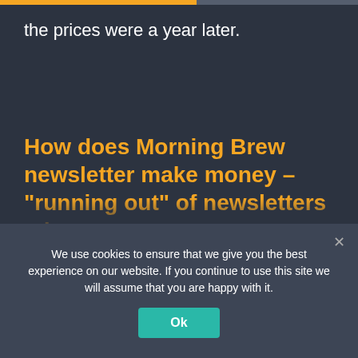the prices were a year later.
How does Morning Brew newsletter make money – “running out” of newsletters ads
When they got what they could
We use cookies to ensure that we give you the best experience on our website. If you continue to use this site we will assume that you are happy with it.